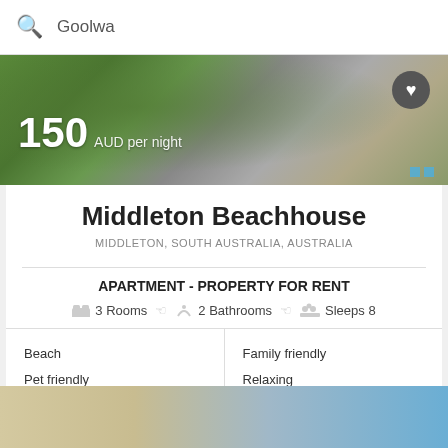Goolwa
[Figure (photo): Outdoor property image showing greenery and pathway with price overlay: 150 AUD per night]
Middleton Beachhouse
MIDDLETON, SOUTH AUSTRALIA, AUSTRALIA
APARTMENT - PROPERTY FOR RENT
3 Rooms  2 Bathrooms  Sleeps 8
Beach
Pet friendly
Restaurants
Family friendly
Relaxing
BBQ facilities
$150/1 Night
MORE INFO
List  Map  Filters